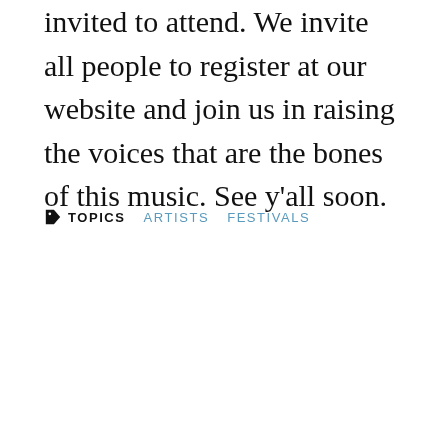invited to attend. We invite all people to register at our website and join us in raising the voices that are the bones of this music. See y'all soon.
TOPICS  ARTISTS  FESTIVALS